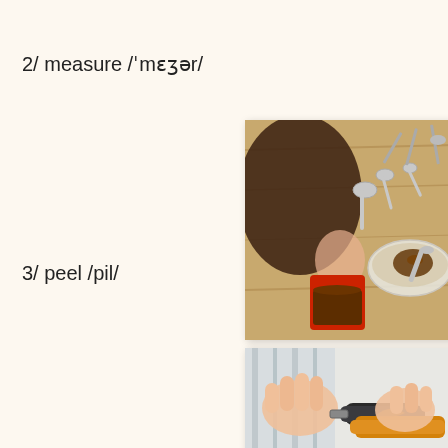2/ measure /ˈmɛʒər/
[Figure (photo): Overhead view of a person measuring cocoa powder with measuring spoons and a glass bowl on a wooden surface]
3/ peel /pil/
[Figure (photo): Close-up of hands using a vegetable peeler on a carrot or similar vegetable]